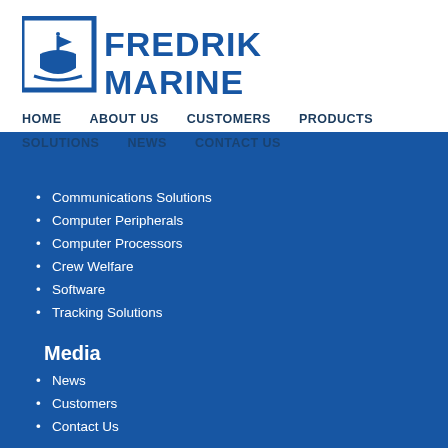[Figure (logo): Fredrik Marine logo: blue shield with ship icon and flag, with bold blue text FREDRIK MARINE to the right]
HOME   ABOUT US   CUSTOMERS   PRODUCTS
SOLUTIONS   NEWS   CONTACT US
Communications Solutions
Computer Peripherals
Computer Processors
Crew Welfare
Software
Tracking Solutions
Media
News
Customers
Contact Us